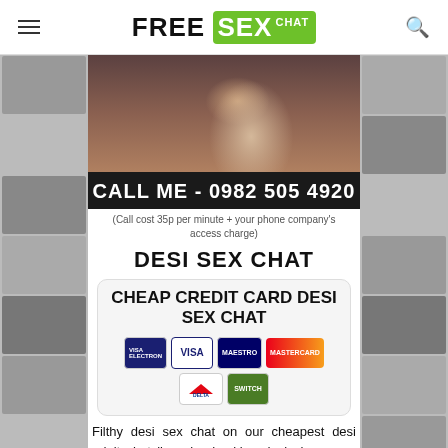FREE SEX CHAT
[Figure (photo): Woman lying down, dark hair, looking at camera]
CALL ME - 0982 505 4920
(Call cost 35p per minute + your phone company's access charge)
DESI SEX CHAT
CHEAP CREDIT CARD DESI SEX CHAT
[Figure (illustration): Payment card logos: Visa Electron, Visa, Maestro, Mastercard, Delta, Switch]
Filthy desi sex chat on our cheapest desi adult chat lines is shocking desi phone sex where anything can happen! Call now